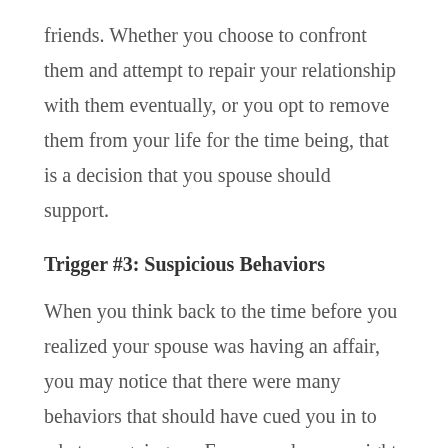friends. Whether you choose to confront them and attempt to repair your relationship with them eventually, or you opt to remove them from your life for the time being, that is a decision that you spouse should support.
Trigger #3: Suspicious Behaviors
When you think back to the time before you realized your spouse was having an affair, you may notice that there were many behaviors that should have cued you in to what was going on. For example, you might remember long nights at the office,  overnight business trips,